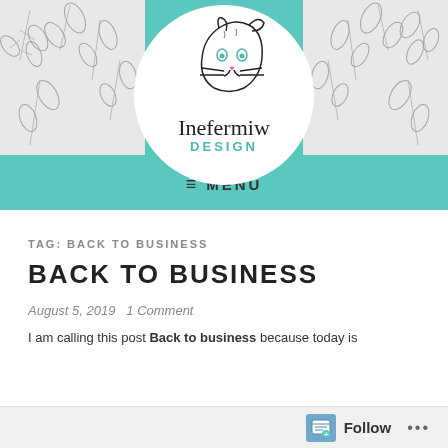[Figure (logo): Inefermiw Design logo: a white circle with a line-drawing of a cat's face profile, text 'Inefermiw' in cursive and 'DESIGN' in teal capitals below, set against a teal header band with leaf-patterned side panels]
≡ MENU
TAG: BACK TO BUSINESS
BACK TO BUSINESS
August 5, 2019   1 Comment
I am calling this post Back to business because today is